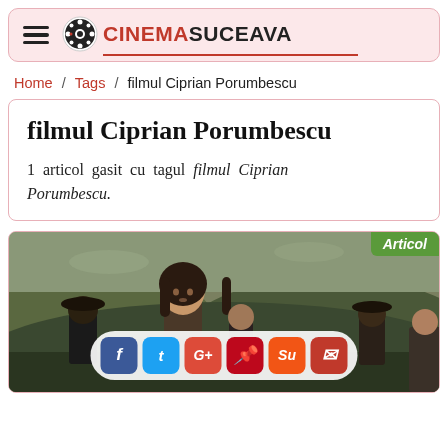CINEMA SUCEAVA
Home / Tags / filmul Ciprian Porumbescu
filmul Ciprian Porumbescu
1 articol gasit cu tagul filmul Ciprian Porumbescu.
[Figure (photo): Screenshot of Cinema Suceava website showing tag page for 'filmul Ciprian Porumbescu' with a photo of a young man with long hair in a film scene, and social media sharing buttons (Facebook, Twitter, Google+, Pinterest, StumbleUpon, Email) overlaid at the bottom.]